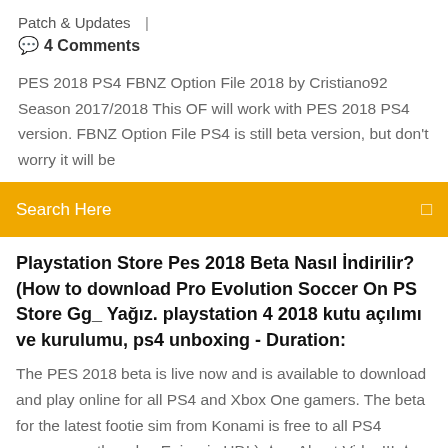Patch & Updates  |
💬 4 Comments
PES 2018 PS4 FBNZ Option File 2018 by Cristiano92 Season 2017/2018 This OF will work with PES 2018 PS4 version. FBNZ Option File PS4 is still beta version, but don't worry it will be
Search Here
Playstation Store Pes 2018 Beta Nasıl İndirilir? (How to download Pro Evolution Soccer On PS Store Gg_ Yağız. playstation 4 2018 kutu açılımı ve kurulumu, ps4 unboxing - Duration:
The PES 2018 beta is live now and is available to download and play online for all PS4 and Xbox One gamers. The beta for the latest footie sim from Konami is free to all PS4 gamers, so they don Enjoy, in HD!;) ★ ¡¡¡About Video!!! ★ PES 2018 Online Beta (PS4) - France VS Brazil Gameplay HD , only the best and